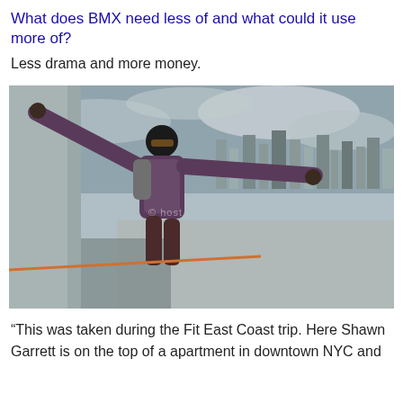What does BMX need less of and what could it use more of?
Less drama and more money.
[Figure (photo): A man with arms outstretched standing on top of an apartment building rooftop in downtown NYC, wearing sunglasses and a beanie, with a wide-angle fisheye view of the city skyline and cloudy sky behind him.]
“This was taken during the Fit East Coast trip. Here Shawn Garrett is on the top of a apartment in downtown NYC and